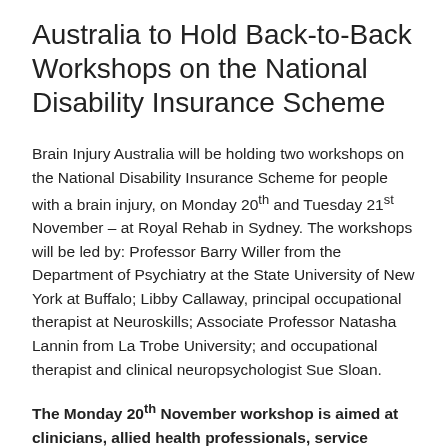Australia to Hold Back-to-Back Workshops on the National Disability Insurance Scheme
Brain Injury Australia will be holding two workshops on the National Disability Insurance Scheme for people with a brain injury, on Monday 20th and Tuesday 21st November – at Royal Rehab in Sydney. The workshops will be led by: Professor Barry Willer from the Department of Psychiatry at the State University of New York at Buffalo; Libby Callaway, principal occupational therapist at Neuroskills; Associate Professor Natasha Lannin from La Trobe University; and occupational therapist and clinical neuropsychologist Sue Sloan.
The Monday 20th November workshop is aimed at clinicians, allied health professionals, service providers and the broader disability sector – to give